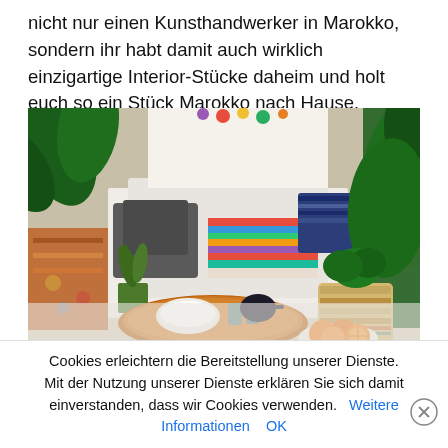nicht nur einen Kunsthandwerker in Marokko, sondern ihr habt damit auch wirklich einzigartige Interior-Stücke daheim und holt euch so ein Stück Marokko nach Hause.
[Figure (photo): A Moroccan-style living room corner with colorful cushions, woven blankets, tropical houseplants, a copper tray with tea glasses and a white bowl, a wicker basket with a plant, and oranges on a lace doily.]
Cookies erleichtern die Bereitstellung unserer Dienste. Mit der Nutzung unserer Dienste erklären Sie sich damit einverstanden, dass wir Cookies verwenden.   Weitere Informationen    OK